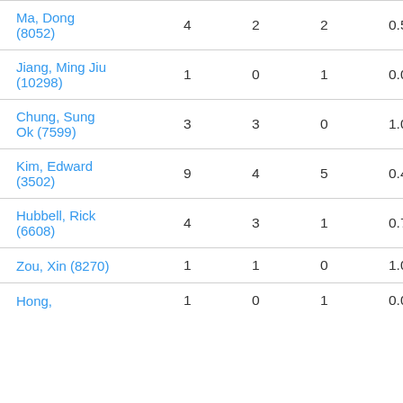| Ma, Dong (8052) | 4 | 2 | 2 | 0.50 |
| Jiang, Ming Jiu (10298) | 1 | 0 | 1 | 0.00 |
| Chung, Sung Ok (7599) | 3 | 3 | 0 | 1.00 |
| Kim, Edward (3502) | 9 | 4 | 5 | 0.44 |
| Hubbell, Rick (6608) | 4 | 3 | 1 | 0.75 |
| Zou, Xin (8270) | 1 | 1 | 0 | 1.00 |
| Hong, | 1 | 0 | 1 | 0.00 |